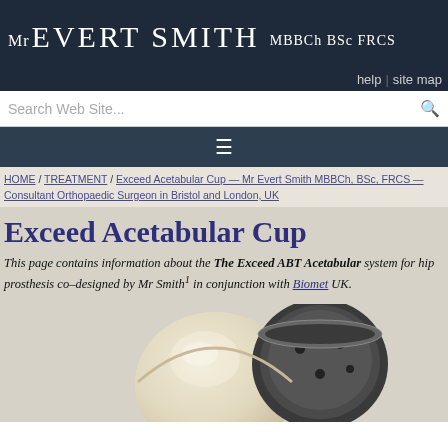Mr Evert Smith MBBCh BSc FRCS
help | site map
Search Web Site...
≡
HOME / TREATMENT / Exceed Acetabular Cup — Mr Evert Smith MBBCh, BSc, FRCS — Consultant Orthopaedic Surgeon in Bristol and London, UK
Exceed Acetabular Cup
This page contains information about the The Exceed ABT Acetabular system for hip prosthesis co–designed by Mr Smith¹ in conjunction with Biomet UK.
[Figure (photo): Photo of the Exceed Acetabular Cup hip prosthesis components — a white ceramic/plastic cup component and a dark metal acetabular shell with screw holes.]